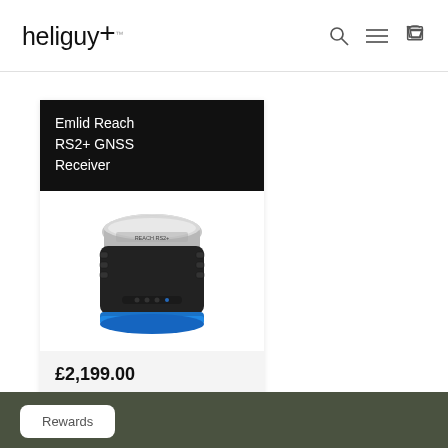heliguy+
Emlid Reach RS2+ GNSS Receiver
[Figure (photo): Emlid Reach RS2+ GNSS Receiver device — cylindrical unit with silver top, black body, and blue accent at the base]
£2,199.00
Rewards